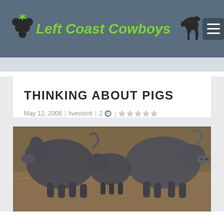Left Coast Cowboys
THINKING ABOUT PIGS
May 12, 2008 | livestock | 2 comments | rating stars
[Figure (photo): Close-up photo of dark grey/black pigs on a dirt and straw ground, viewed from behind and side angles]